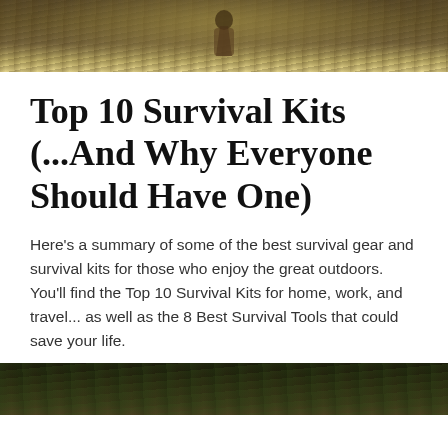[Figure (photo): Outdoor/nature photo at top of page showing a person in camouflage or tactical gear in a wooded/brushy environment]
Top 10 Survival Kits (...And Why Everyone Should Have One)
Here's a summary of some of the best survival gear and survival kits for those who enjoy the great outdoors. You'll find the Top 10 Survival Kits for home, work, and travel... as well as the 8 Best Survival Tools that could save your life.
[Figure (photo): Outdoor/wilderness photo at bottom of page, partially visible, showing a person in outdoor/survival setting]